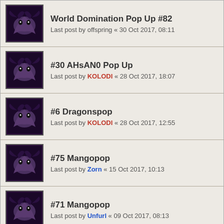World Domination Pop Up #82 — Last post by offspring « 30 Oct 2017, 08:11
#30 AHsAN0 Pop Up — Last post by KOLODI « 28 Oct 2017, 18:07
#6 Dragonspop — Last post by KOLODI « 28 Oct 2017, 12:55
#75 Mangopop — Last post by Zorn « 15 Oct 2017, 10:13
#71 Mangopop — Last post by Unfurl « 09 Oct 2017, 08:13
#38 Mangopop — Last post by Unfurl « 09 Oct 2017, 08:06
17 topics • Page 1 of 1